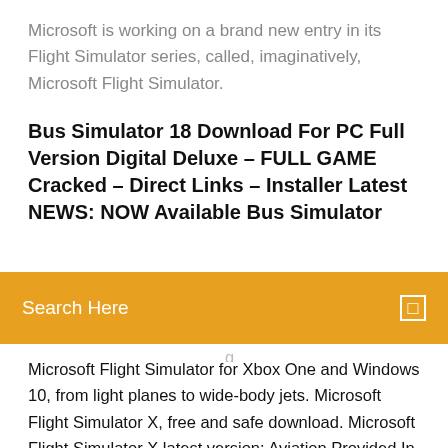Microsoft is working on a brand new entry in its Flight Simulator series, called, imaginatively, Microsoft Flight Simulator.
Bus Simulator 18 Download For PC Full Version Digital Deluxe – FULL GAME Cracked – Direct Links – Installer Latest NEWS: NOW Available Bus Simulator
Search Here
Microsoft Flight Simulator for Xbox One and Windows 10, from light planes to wide-body jets. Microsoft Flight Simulator X, free and safe download. Microsoft Flight Simulator X latest version: Aviation Provided In Full Glorious Simulation. Microsoft Flight Download Microsoft Flight Simulator X for Windows now from Softonic: 100% safe and virus free. More than 3411 downloads this month. Download Microsoft  If you haven't played Microsoft Flight Simulator (v5.0) or want to try this simulation video game, download it now for free! I haven't tested this version after it